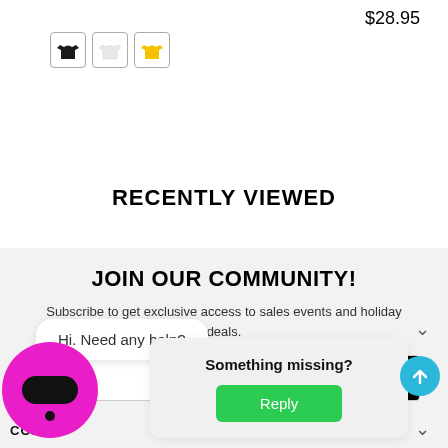$28.95
[Figure (illustration): Three t-shirt color swatches: black, white, and yellow]
RECENTLY VIEWED
JOIN OUR COMMUNITY!
Subscribe to get exclusive access to sales events and holiday deals.
[Figure (screenshot): Email subscribe input with SUBSCRIBE button]
[Figure (screenshot): Chat widget showing 'Hi. Need any help?' bubble with magenta avatar]
[Figure (screenshot): Popup overlay: 'Something missing?' with green Reply button]
[Figure (screenshot): Blue circular back-to-top arrow button]